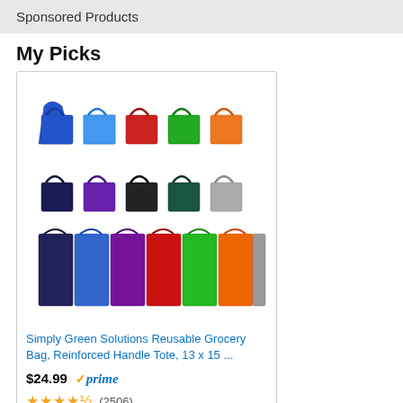Sponsored Products
My Picks
[Figure (photo): Product image showing reusable grocery bags in multiple colors arranged in a 5x3 grid]
Simply Green Solutions Reusable Grocery Bag, Reinforced Handle Tote, 13 x 15 ...
$24.99 prime
★★★★★ (2506)
Search Amazon  Go
Ads by Amazon
Recent Post